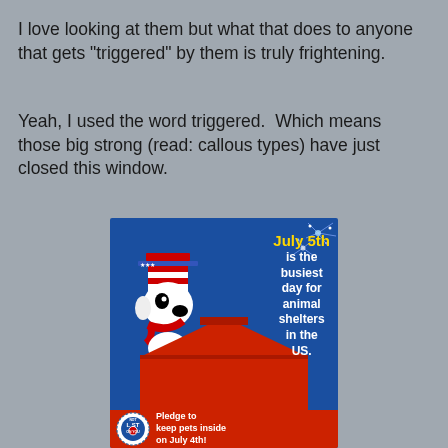I love looking at them but what that does to anyone that gets "triggered" by them is truly frightening.
Yeah, I used the word triggered.  Which means those big strong (read: callous types) have just closed this window.
[Figure (illustration): Snoopy dressed in patriotic Uncle Sam hat sitting on his red doghouse. Text reads 'July 5th is the busiest day for animal shelters in the US.' Bottom strip shows 'Not Lost On You' badge and 'Pledge to keep pets inside on July 4th!']